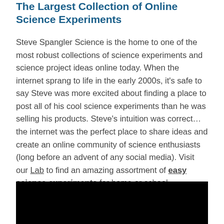The Largest Collection of Online Science Experiments
Steve Spangler Science is the home to one of the most robust collections of science experiments and science project ideas online today. When the internet sprang to life in the early 2000s, it's safe to say Steve was more excited about finding a place to post all of his cool science experiments than he was selling his products. Steve's intuition was correct… the internet was the perfect place to share ideas and create an online community of science enthusiasts (long before an advent of any social media). Visit our Lab to find an amazing assortment of easy science experiments for home or school.
[Figure (photo): A dark/black image area at the bottom of the page, partially visible, appears to be a video or photo thumbnail.]